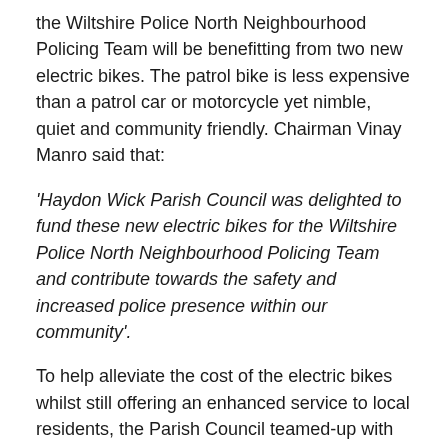the Wiltshire Police North Neighbourhood Policing Team will be benefitting from two new electric bikes. The patrol bike is less expensive than a patrol car or motorcycle yet nimble, quiet and community friendly. Chairman Vinay Manro said that:
'Haydon Wick Parish Council was delighted to fund these new electric bikes for the Wiltshire Police North Neighbourhood Policing Team and contribute towards the safety and increased police presence within our community'.
To help alleviate the cost of the electric bikes whilst still offering an enhanced service to local residents, the Parish Council teamed-up with neighbouring Blunsdon Parish Council to share the cost of the second bike for the patrol team. Chairman Ian Jankinson, Blunsdon Parish Council said: